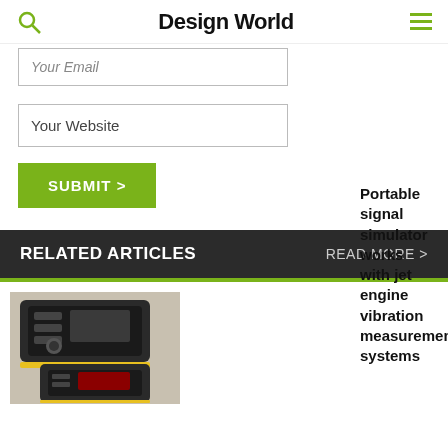Design World
Your Email
Your Website
SUBMIT >
RELATED ARTICLES  READ MORE >
Portable signal simulator works with jet engine vibration measurement/balancing systems